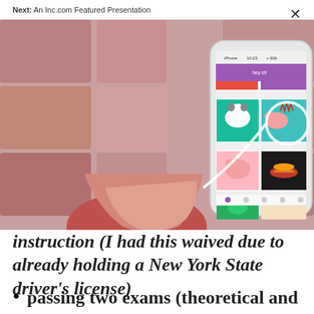Next: An Inc.com Featured Presentation
[Figure (photo): A hand holding a smartphone displaying a mobile app with cartoon animal illustrations including a cow, pigs, and other food-related images. The background shows a blurred grid of similar images with a rosy/pink tint.]
instruction (I had this waived due to already holding a New York State driver's license)
passing two exams (theoretical and